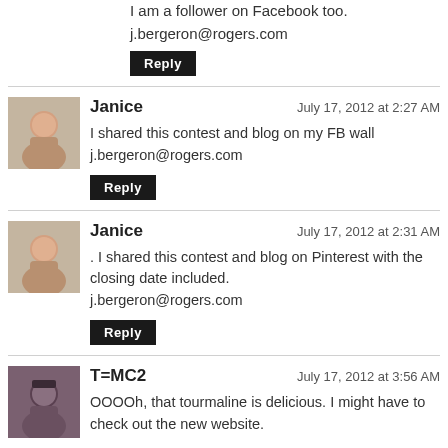I am a follower on Facebook too.
j.bergeron@rogers.com
Reply
Janice — July 17, 2012 at 2:27 AM
I shared this contest and blog on my FB wall
j.bergeron@rogers.com
Reply
Janice — July 17, 2012 at 2:31 AM
. I shared this contest and blog on Pinterest with the closing date included.
j.bergeron@rogers.com
Reply
T=MC2 — July 17, 2012 at 3:56 AM
OOOOh, that tourmaline is delicious. I might have to check out the new website.